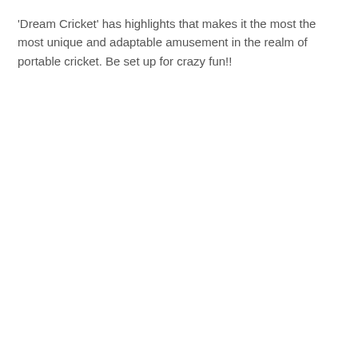'Dream Cricket' has highlights that makes it the most the most unique and adaptable amusement in the realm of portable cricket. Be set up for crazy fun!!